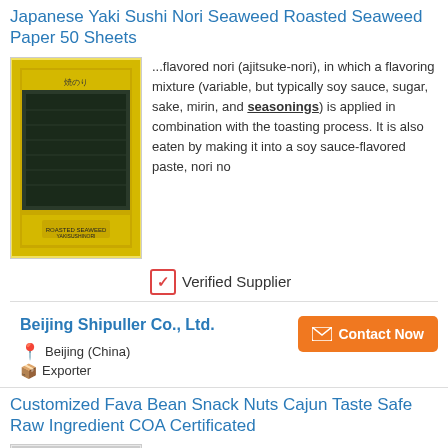Japanese Yaki Sushi Nori Seaweed Roasted Seaweed Paper 50 Sheets
[Figure (photo): Product photo of roasted seaweed nori package with yellow/gold packaging]
...flavored nori (ajitsuke-nori), in which a flavoring mixture (variable, but typically soy sauce, sugar, sake, mirin, and seasonings) is applied in combination with the toasting process. It is also eaten by making it into a soy sauce-flavored paste, nori no
✓ Verified Supplier
Beijing Shipuller Co., Ltd.
Beijing (China)
Exporter
Customized Fava Bean Snack Nuts Cajun Taste Safe Raw Ingredient COA Certificated
[Figure (photo): Product photo of fava bean snacks in a bowl]
... more unique like Tomato, Shrimp, Seaweed etc. Product Name: Customized Fava Bean Snack Nuts Cajun Taste Safe Raw Ingredient COA Certificated Product Code: PM159c The Selling Points NON-GMO Breakage Rate: ≤5% Main Process: